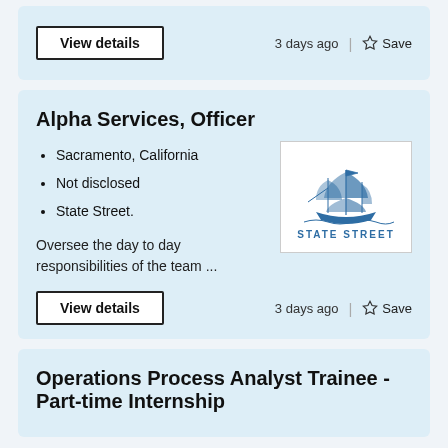View details
3 days ago | Save
Alpha Services, Officer
Sacramento, California
Not disclosed
State Street.
[Figure (logo): State Street logo with sailing ship illustration and 'STATE STREET' text]
Oversee the day to day responsibilities of the team ...
View details
3 days ago | Save
Operations Process Analyst Trainee - Part-time Internship